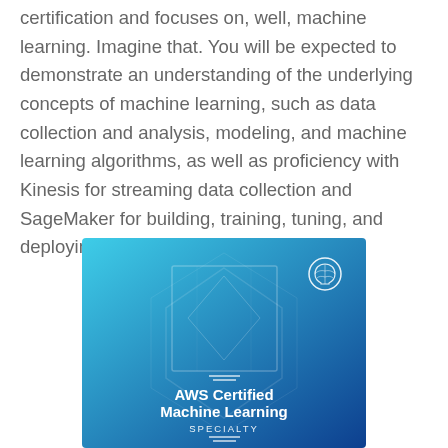certification and focuses on, well, machine learning. Imagine that. You will be expected to demonstrate an understanding of the underlying concepts of machine learning, such as data collection and analysis, modeling, and machine learning algorithms, as well as proficiency with Kinesis for streaming data collection and SageMaker for building, training, tuning, and deploying machine learning models.
[Figure (illustration): AWS Certified Machine Learning Specialty badge/logo on a blue gradient background with a brain icon in the top right corner and a shield/hexagon frame design.]